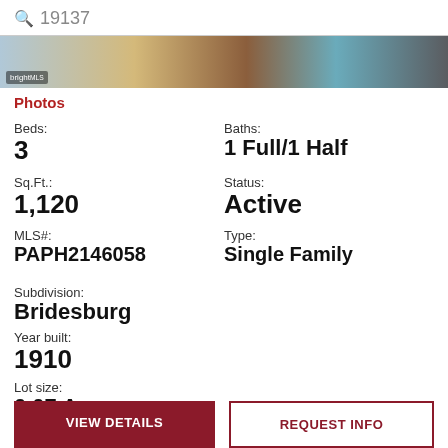19137
[Figure (photo): Interior photo of a room with blue patterned rug and wooden furniture, with bright.MLS watermark]
Photos
Beds:
3
Baths:
1 Full/1 Half
Sq.Ft.:
1,120
Status:
Active
MLS#:
PAPH2146058
Type:
Single Family
Subdivision:
Bridesburg
Year built:
1910
Lot size:
0.07 Acres
VIEW DETAILS
REQUEST INFO